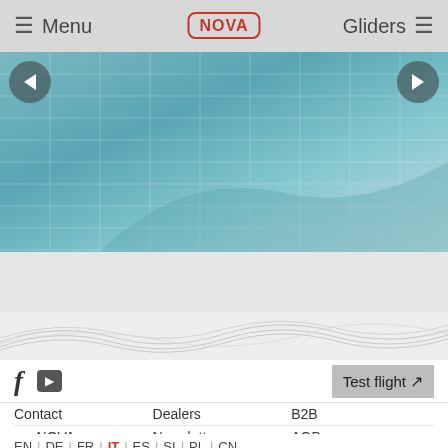Menu  NOVA  Gliders
[Figure (photo): Hero image showing teal/blue paraglider fabric texture with grid-like weave pattern, with carousel navigation arrows on left and right]
Test flight ↗
Contact   Dealers   B2B
my NOVA   Newsletter   AGB
Imprint   Data Protection
EN | DE | FR | IT | ES | SI | PL | CN